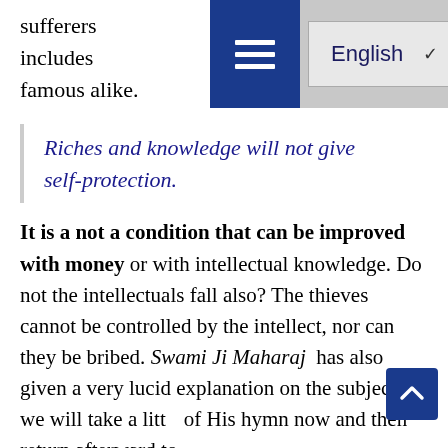sufferers and this includes the famous alike.
Riches and knowledge will not give self-protection.
It is a not a condition that can be improved with money or with intellectual knowledge. Do not the intellectuals fall also? The thieves cannot be controlled by the intellect, nor can they be bribed. Swami Ji Maharaj has also given a very lucid explanation on the subject, so we will take a litt of His hymn now and then return afterward to